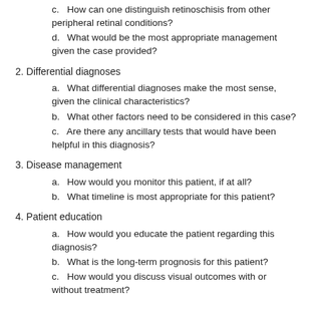c. How can one distinguish retinoschisis from other peripheral retinal conditions?
d. What would be the most appropriate management given the case provided?
2. Differential diagnoses
a. What differential diagnoses make the most sense, given the clinical characteristics?
b. What other factors need to be considered in this case?
c. Are there any ancillary tests that would have been helpful in this diagnosis?
3. Disease management
a. How would you monitor this patient, if at all?
b. What timeline is most appropriate for this patient?
4. Patient education
a. How would you educate the patient regarding this diagnosis?
b. What is the long-term prognosis for this patient?
c. How would you discuss visual outcomes with or without treatment?